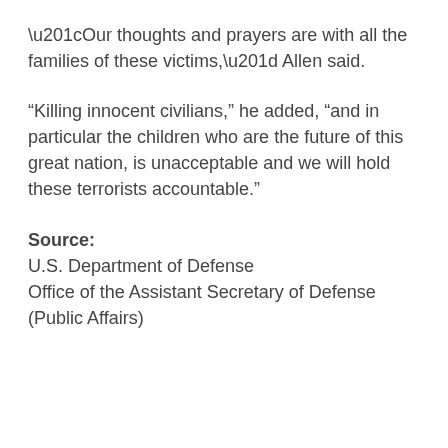“Our thoughts and prayers are with all the families of these victims,” Allen said.
“Killing innocent civilians,” he added, “and in particular the children who are the future of this great nation, is unacceptable and we will hold these terrorists accountable.”
Source:
U.S. Department of Defense
Office of the Assistant Secretary of Defense (Public Affairs)